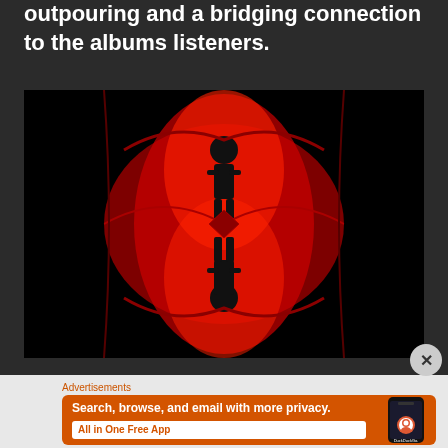outpouring and a bridging connection to the albums listeners.
[Figure (photo): Album artwork showing a symmetrical red and black image with silhouettes of figures reflected, creating a kaleidoscopic effect against a dark background.]
Advertisements
[Figure (screenshot): DuckDuckGo advertisement banner with orange background showing a phone and text: Search, browse, and email with more privacy. All in One Free App. DuckDuckGo.]